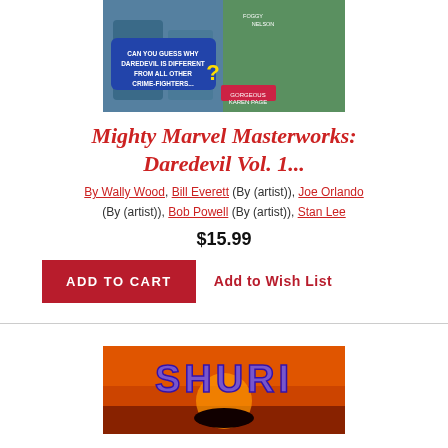[Figure (photo): Comic book cover image for Mighty Marvel Masterworks: Daredevil, showing Daredevil and other characters with text 'Can you guess why Daredevil is different from all other crime-fighters...?' with Karen Page and Foggy Nelson labeled]
Mighty Marvel Masterworks: Daredevil Vol. 1...
By Wally Wood, Bill Everett (By (artist)), Joe Orlando (By (artist)), Bob Powell (By (artist)), Stan Lee
$15.99
ADD TO CART  Add to Wish List
[Figure (photo): Book cover for Shuri showing orange/sunset background with large purple SHURI text and a silhouette of a bird/panther]